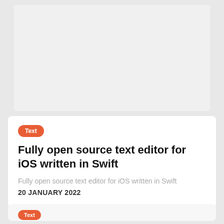[Figure (other): Gray placeholder image area at the top of the page]
Text
Fully open source text editor for iOS written in Swift
Fully open source text editor for iOS written in Swift
20 JANUARY 2022
Text